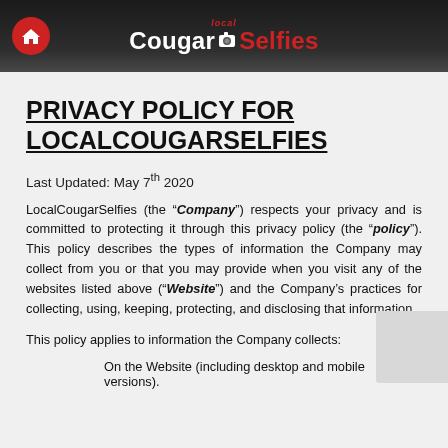local CougarSelfies
PRIVACY POLICY FOR LOCALCOUGARSELFIES
Last Updated: May 7th 2020
LocalCougarSelfies (the “Company”) respects your privacy and is committed to protecting it through this privacy policy (the “policy”). This policy describes the types of information the Company may collect from you or that you may provide when you visit any of the websites listed above (“Website”) and the Company’s practices for collecting, using, keeping, protecting, and disclosing that information.
This policy applies to information the Company collects:
On the Website (including desktop and mobile versions).